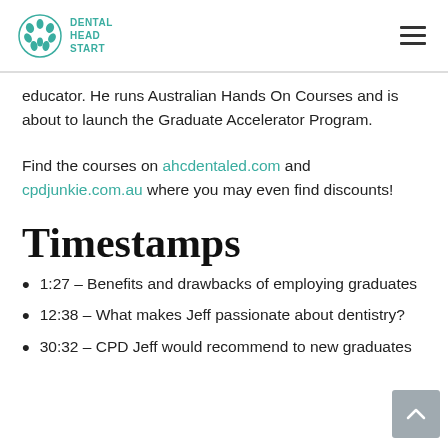DENTAL HEAD START
educator. He runs Australian Hands On Courses and is about to launch the Graduate Accelerator Program.
Find the courses on ahcdentaled.com and cpdjunkie.com.au where you may even find discounts!
Timestamps
1:27 – Benefits and drawbacks of employing graduates
12:38 – What makes Jeff passionate about dentistry?
30:32 – CPD Jeff would recommend to new graduates